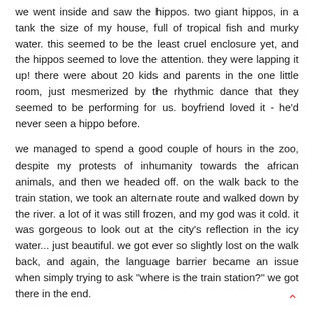we went inside and saw the hippos. two giant hippos, in a tank the size of my house, full of tropical fish and murky water. this seemed to be the least cruel enclosure yet, and the hippos seemed to love the attention. they were lapping it up! there were about 20 kids and parents in the one little room, just mesmerized by the rhythmic dance that they seemed to be performing for us. boyfriend loved it - he'd never seen a hippo before.
we managed to spend a good couple of hours in the zoo, despite my protests of inhumanity towards the african animals, and then we headed off. on the walk back to the train station, we took an alternate route and walked down by the river. a lot of it was still frozen, and my god was it cold. it was gorgeous to look out at the city's reflection in the icy water... just beautiful. we got ever so slightly lost on the walk back, and again, the language barrier became an issue when simply trying to ask "where is the train station?" we got there in the end.